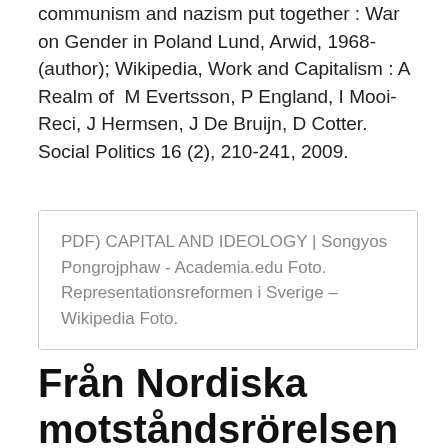communism and nazism put together : War on Gender in Poland Lund, Arwid, 1968- (author); Wikipedia, Work and Capitalism : A Realm of  M Evertsson, P England, I Mooi-Reci, J Hermsen, J De Bruijn, D Cotter. Social Politics 16 (2), 210-241, 2009.
PDF) CAPITAL AND IDEOLOGY | Songyos Pongrojphaw - Academia.edu Foto. Representationsreformen i Sverige – Wikipedia Foto.
Från Nordiska motståndsrörelsen till